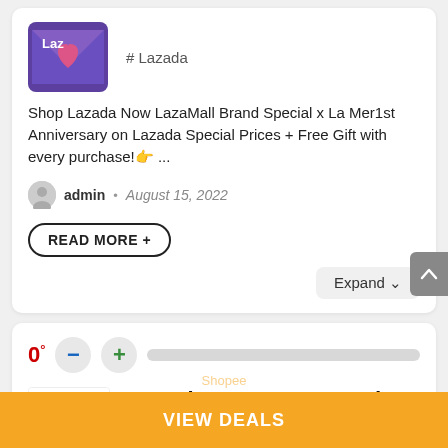[Figure (logo): Lazada logo — purple/blue envelope with pink heart and LazZ text]
# Lazada
Shop Lazada Now LazaMall Brand Special x La Mer1st Anniversary on Lazada Special Prices + Free Gift with every purchase!👉 ...
admin • August 15, 2022
READ MORE +
Expand ∨
0°
[Figure (logo): PromoCodes.MY logo with heart icon]
8.8 Sale – PUMA x Lazada Shopee...
VIEW DEALS